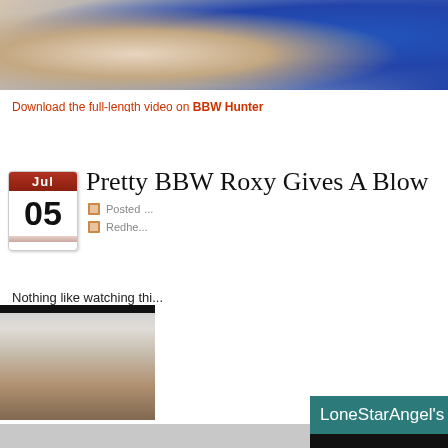[Figure (photo): Close-up photo cropped at top, partial view of persons, blue clothing visible on right side]
Download the full-length video on BBW Hunter
Pretty BBW Roxy Gives A Blow
Posted ...
Redhe...
Nothing like watching thi...
[Figure (screenshot): Live chat overlay popup from LoneStarAngel with loading spinner on dark background, HD badge in top right]
[Figure (photo): Bottom portion of photo showing hair/person on light background]